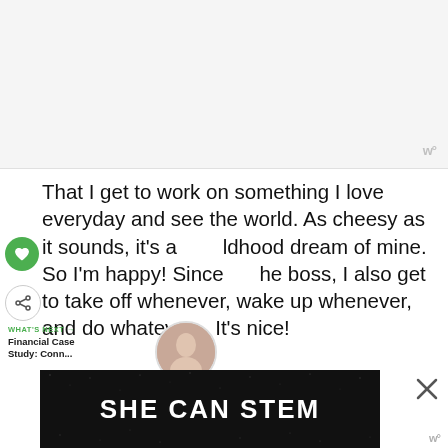[Figure (other): Blank/placeholder image area with watermark logo 'w°' in bottom right corner]
That I get to work on something I love everyday and see the world. As cheesy as it sounds, it's a childhood dream of mine. So I'm happy! Since the boss, I also get to take off whenever, wake up whenever, and do whatever... It's nice!
[Figure (other): UI overlay: green heart icon and share icon on left side, 'WHAT'S NEXT → Financial Case Study: Conn...' with thumbnail photo of woman]
[Figure (other): Bottom advertisement banner with dark background, bold white text 'SHE CAN STEM', close X button on right, and 'w°' watermark below]